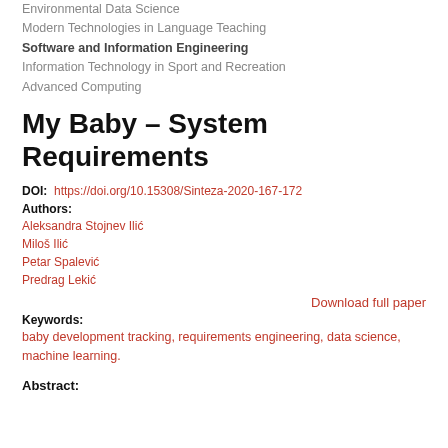Environmental Data Science
Modern Technologies in Language Teaching
Software and Information Engineering
Information Technology in Sport and Recreation
Advanced Computing
My Baby – System Requirements
DOI: https://doi.org/10.15308/Sinteza-2020-167-172
Authors:
Aleksandra Stojnev Ilić
Miloš Ilić
Petar Spalević
Predrag Lekić
Download full paper
Keywords:
baby development tracking, requirements engineering, data science, machine learning.
Abstract: